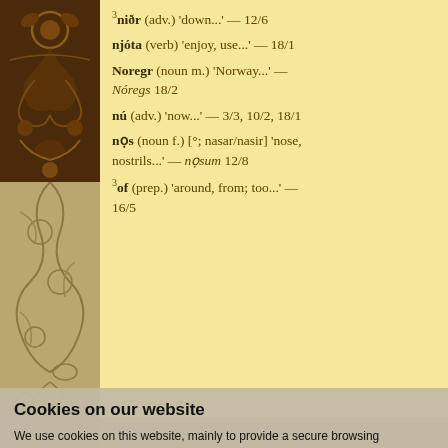[Figure (illustration): Decorative brown floral/vine pattern on left column top]
³niðr (adv.) 'down...' — 12/6
njóta (verb) 'enjoy, use...' — 18/1
Noregr (noun m.) 'Norway...' — Nóregs 18/2
nú (adv.) 'now...' — 3/3, 10/2, 18/1
nọs (noun f.) [°; nasar/nasir] 'nose, nostrils...' — nọsum 12/8
³of (prep.) 'around, from; too...' — 16/5
⁴of (particle) '(before verb)...' — 10/4
ofrausn (noun f.) 'excess of ..eroism...' — 11/3
²ok (conj.) 'and, but; also...' — 1/5, ...
Cookies on our website
We use cookies on this website, mainly to provide a secure browsing experience but also to collect statistics on how the website is used. You can find out more about the cookies we set, the information we store and how we use it on the cookies page.
orð (noun n.) [°-s; -] 'word...' — 8/3, 9/3
orrusta (noun f.) [°-u; -ur] 'battle...' — orrostu 1/3
óðal (noun n.) [°-s, dat. oð(a)li/ óðrli; óðul, dat. oðlum/oðrlum] '..heredita...'